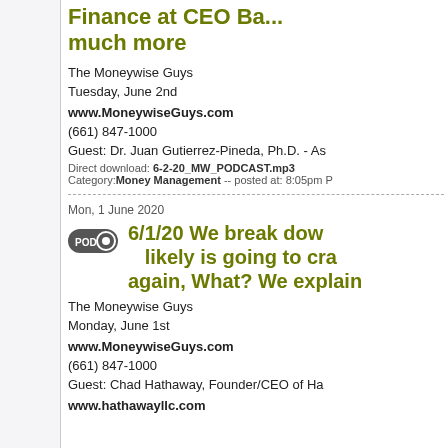Finance at CEO Ba... much more
The Moneywise Guys
Tuesday, June 2nd
www.MoneywiseGuys.com
(661) 847-1000
Guest: Dr. Juan Gutierrez-Pineda, Ph.D. - As...
Direct download: 6-2-20_MW_PODCAST.mp3
Category: Money Management -- posted at: 8:05pm P
Mon, 1 June 2020
6/1/20 We break dow... likely is going to cra... again, What? We explain...
The Moneywise Guys
Monday, June 1st
www.MoneywiseGuys.com
(661) 847-1000
Guest: Chad Hathaway, Founder/CEO of Ha...
www.hathawayllc.com